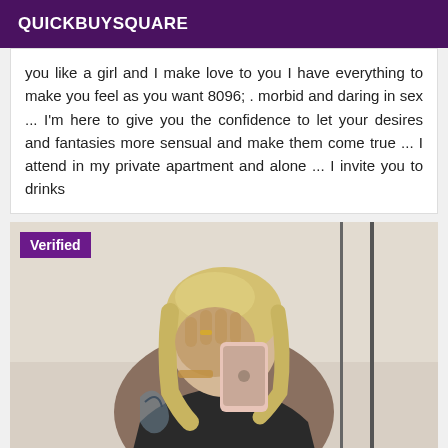QUICKBUYSQUARE
you like a girl and I make love to you I have everything to make you feel as you want 8096; . morbid and daring in sex ... I'm here to give you the confidence to let your desires and fantasies more sensual and make them come true ... I attend in my private apartment and alone ... I invite you to drinks
[Figure (photo): A blonde woman taking a selfie in a mirror, covering her face with her hand holding a rose gold iPhone. She has tattoos on her arm and wrist. A 'Verified' badge appears in the top-left corner of the image.]